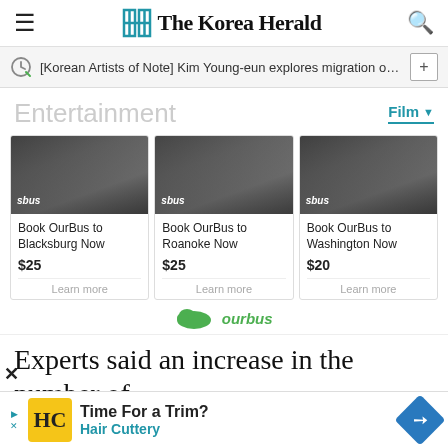The Korea Herald
[Korean Artists of Note] Kim Young-eun explores migration of sou…
Entertainment
Film
[Figure (photo): Three ad cards for OurBus showing a person with luggage near a bus. Card 1: Book OurBus to Blacksburg Now $25. Card 2: Book OurBus to Roanoke Now $25. Card 3: Book OurBus to Washington Now $20.]
Experts said an increase in the number of
[Figure (advertisement): Hair Cuttery advertisement - Time For a Trim?]